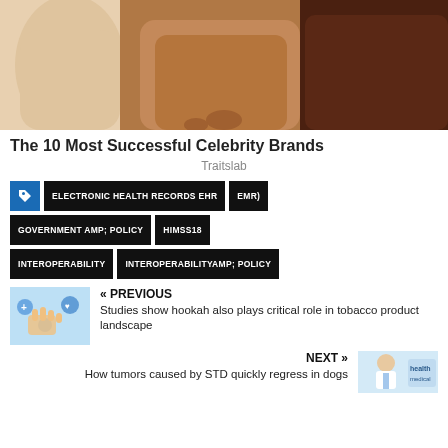[Figure (photo): Three figures side by side showing different skin tones in seamless undergarment bottoms, cropped from waist to thigh, on a light background]
The 10 Most Successful Celebrity Brands
Traitslab
ELECTRONIC HEALTH RECORDS EHR
EMR)
GOVERNMENT AMP; POLICY
HIMSS18
INTEROPERABILITY
INTEROPERABILITYAMP; POLICY
« PREVIOUS
Studies show hookah also plays critical role in tobacco product landscape
NEXT »
How tumors caused by STD quickly regress in dogs